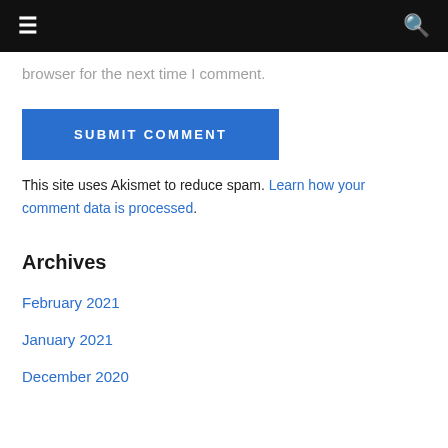≡  🔍
browser for the next time I comment.
SUBMIT COMMENT
This site uses Akismet to reduce spam. Learn how your comment data is processed.
Archives
February 2021
January 2021
December 2020